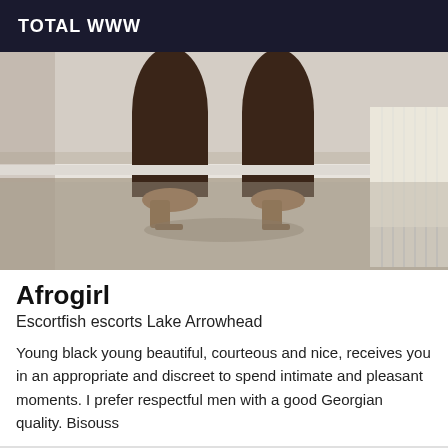TOTAL WWW
[Figure (photo): Photo showing legs of a person wearing heels standing on carpet near a white radiator]
Afrogirl
Escortfish escorts Lake Arrowhead
Young black young beautiful, courteous and nice, receives you in an appropriate and discreet to spend intimate and pleasant moments. I prefer respectful men with a good Georgian quality. Bisouss